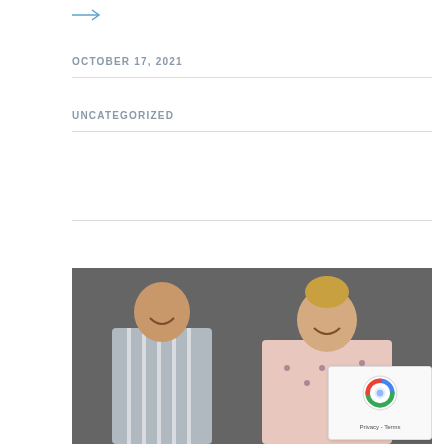[Figure (other): Right arrow icon in blue/teal color]
OCTOBER 17, 2021
UNCATEGORIZED
[Figure (photo): Two young people smiling, seated against a gray brick wall. A man in a striped shirt on the left and a woman in a floral blouse on the right.]